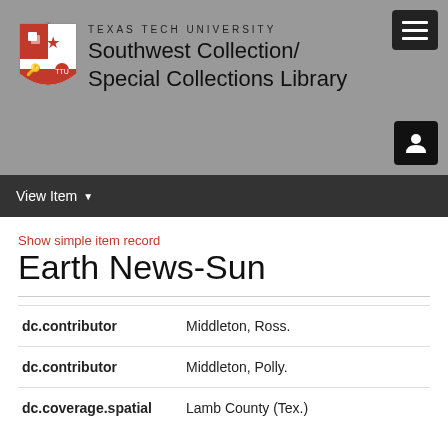[Figure (logo): Texas Tech University Southwest Collection/Special Collections Library logo with shield emblem and navigation menu button]
View Item
Show simple item record
Earth News-Sun
| Field | Value |
| --- | --- |
| dc.contributor | Middleton, Ross. |
| dc.contributor | Middleton, Polly. |
| dc.coverage.spatial | Lamb County (Tex.) |